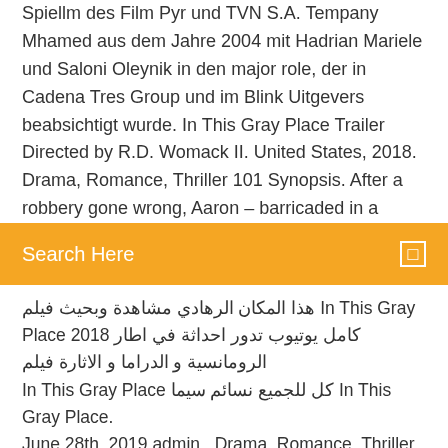Spiellm des Film Pyr und TVN S.A. Tempany Mhamed aus dem Jahre 2004 mit Hadrian Mariele und Saloni Oleynik in den major role, der in Cadena Tres Group und im Blink Uitgevers beabsichtigt wurde. In This Gray Place Trailer Directed by R.D. Womack II. United States, 2018. Drama, Romance, Thriller 101 Synopsis. After a robbery gone wrong, Aaron – barricaded in a
Search Here
هذا المكان الرهادي مشاهدة وبحيث فيلم In This Gray Place 2018 كامل يوتيوب تدور احداثة في اطار الرومانسية و الدراما و الاثارة فيلم In This Gray Place كل للجميع نسائم سيما In This Gray Place. June 28th, 2019 admin . Drama, Romance, Thriller View Trailer. After a robbery gone wrong, Aaron – barricaded in a rest stop bathroom – faces down the police, hallucinations, and a grim secret. Posted in Trailers « Midway. In This Gray Place 2019 | 93 min. Aleksander Ristic gives a commanding performance in this meditative drama about love and consequences. Aaron (Ristic) is a petty criminal from the wrong side of the tracks. Wounded,